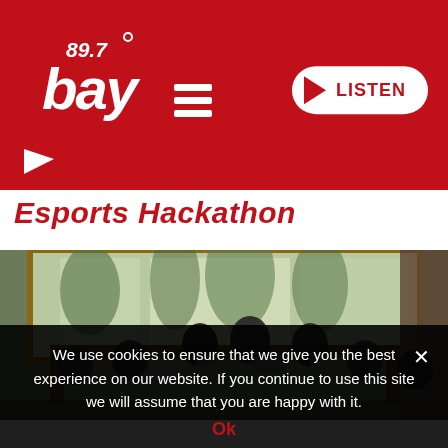[Figure (logo): 89.7 Bay radio station header logo with hamburger menu and LISTEN button on red background]
Esports Hackathon
[Figure (photo): Group of people sitting around tables with laptops in a room with large windows overlooking trees, working during a hackathon event]
We use cookies to ensure that we give you the best experience on our website. If you continue to use this site we will assume that you are happy with it.
Ok